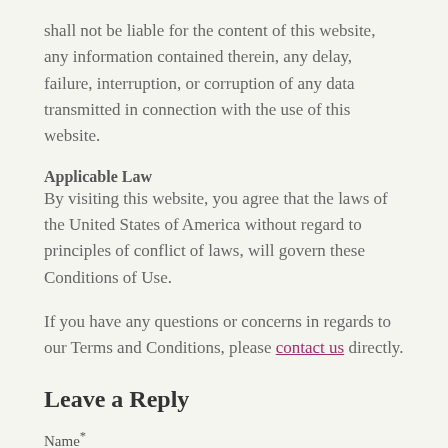shall not be liable for the content of this website, any information contained therein, any delay, failure, interruption, or corruption of any data transmitted in connection with the use of this website.
Applicable Law
By visiting this website, you agree that the laws of the United States of America without regard to principles of conflict of laws, will govern these Conditions of Use.
If you have any questions or concerns in regards to our Terms and Conditions, please contact us directly.
Leave a Reply
Name*